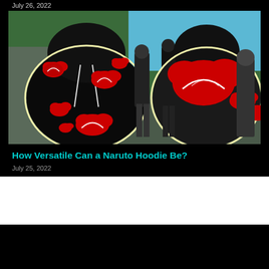July 26, 2022
[Figure (photo): Two black hoodies with red Akatsuki cloud pattern from Naruto anime, shown front and back views, with animated Naruto characters in background]
How Versatile Can a Naruto Hoodie Be?
July 25, 2022